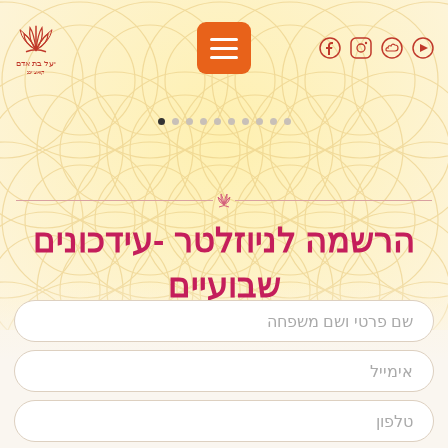[Figure (screenshot): Website screenshot of a Hebrew newsletter registration page with decorative geometric pattern background in warm gold/cream tones, navigation bar with social media icons (YouTube, SoundCloud, Instagram, Facebook), orange hamburger menu button, and lotus flower logo with Hebrew text 'יעל בת אדם']
הרשמה לניוזלטר -עידכונים שבועיים
שם פרטי ושם משפחה
אימייל
טלפון